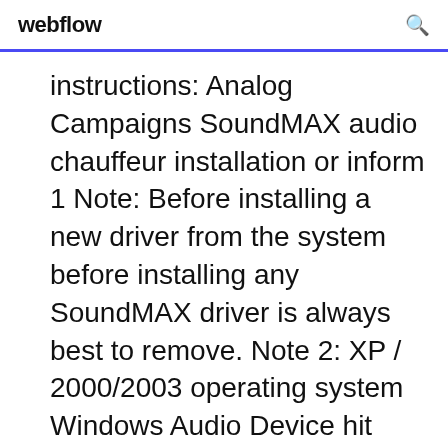webflow
instructions: Analog Campaigns SoundMAX audio chauffeur installation or inform 1 Note: Before installing a new driver from the system before installing any SoundMAX driver is always best to remove. Note 2: XP / 2000/2003 operating system Windows Audio Device hit cancel then proceed to Step 1 detects. SoundMAX driver files location and double-click the setup.exe browse